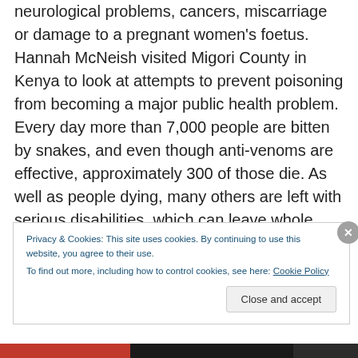neurological problems, cancers, miscarriage or damage to a pregnant women's foetus. Hannah McNeish visited Migori County in Kenya to look at attempts to prevent poisoning from becoming a major public health problem. Every day more than 7,000 people are bitten by snakes, and even though anti-venoms are effective, approximately 300 of those die. As well as people dying, many others are left with serious disabilities, which can leave whole families destitute. This week the World Health Organisation, or WHO, launched a new road map to try to tackle the problem once and for all. And the Wellcome
Privacy & Cookies: This site uses cookies. By continuing to use this website, you agree to their use.
To find out more, including how to control cookies, see here: Cookie Policy